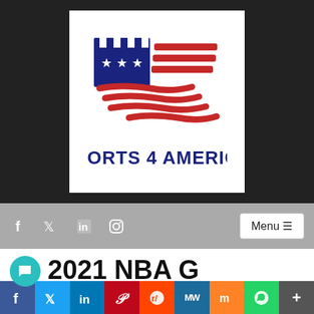[Figure (logo): Sports 4 America logo: stylized American flag icon with navy and red stripes and stars, text 'SPORTS 4 AMERICA' in bold navy below, on white background with dark border]
f  twitter  in  instagram  Menu ≡
2021 NBA G LEAGUE DRAFT RESULTS
f  twitter  in  pinterest  reddit  MW  mix  whatsapp  More